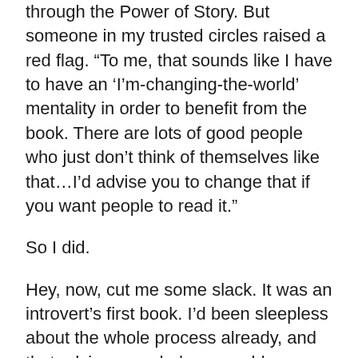through the Power of Story. But someone in my trusted circles raised a red flag. “To me, that sounds like I have to have an ‘I’m-changing-the-world’ mentality in order to benefit from the book. There are lots of good people who just don’t think of themselves like that…I’d advise you to change that if you want people to read it.”
So I did.
Hey, now, cut me some slack. It was an introvert’s first book. I’d been sleepless about the whole process already, and that advice sounded reasonable enough. Of course I wanted people to read it. So I changed the name.
And, of course, I regretted it the minute I punched the publish button on Amazon.
Because here’s the awful truth about me: With